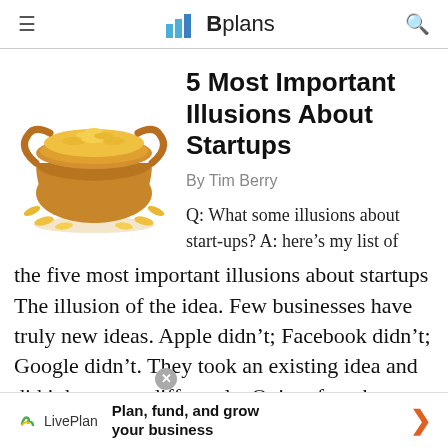Bplans
[Figure (illustration): A golden pot filled with gold coins with several coins scattered around its base]
5 Most Important Illusions About Startups
By Tim Berry
Q: What some illusions about start-ups? A: here’s my list of the five most important illusions about startups The illusion of the idea. Few businesses have truly new ideas. Apple didn’t; Facebook didn’t; Google didn’t. They took an existing idea and did it better, or differently. Quite often the second or third …
[Figure (logo): LivePlan logo with green and yellow leaf icon]
Plan, fund, and grow your business